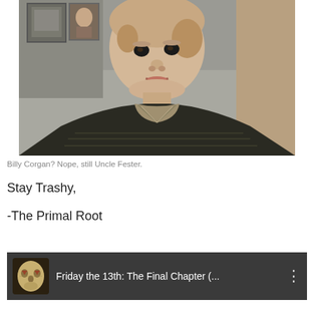[Figure (photo): A young bald child with a serious expression wearing a dark top with striped collar, indoor setting with framed pictures on wall behind]
Billy Corgan? Nope, still Uncle Fester.
Stay Trashy,
-The Primal Root
[Figure (screenshot): YouTube video bar showing Friday the 13th: The Final Chapter (... with Jason mask thumbnail icon on dark background]